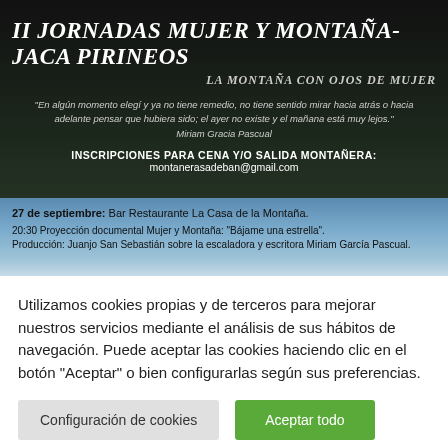[Figure (infographic): Dark banner with mountain background showing II Jornadas Mujer y Montaña-Jaca Pirineos event poster with title, subtitle, quote, and inscription info, plus a blue sky lower section with event schedule details]
Utilizamos cookies propias y de terceros para mejorar nuestros servicios mediante el análisis de sus hábitos de navegación. Puede aceptar las cookies haciendo clic en el botón "Aceptar" o bien configurarlas según sus preferencias.
Configuración de cookies
Aceptar todo